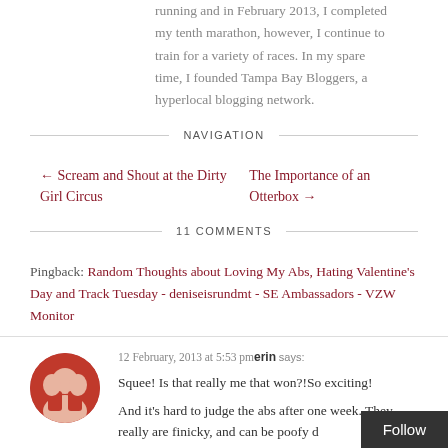running and in February 2013, I completed my tenth marathon, however, I continue to train for a variety of races. In my spare time, I founded Tampa Bay Bloggers, a hyperlocal blogging network.
NAVIGATION
← Scream and Shout at the Dirty Girl Circus
The Importance of an Otterbox →
11 COMMENTS
Pingback: Random Thoughts about Loving My Abs, Hating Valentine's Day and Track Tuesday - deniseisrundmt - SE Ambassadors - VZW Monitor
12 February, 2013 at 5:53 pm erin says:
Squee! Is that really me that won?!So exciting!
And it's hard to judge the abs after one week. They really are finicky, and can be poofy d